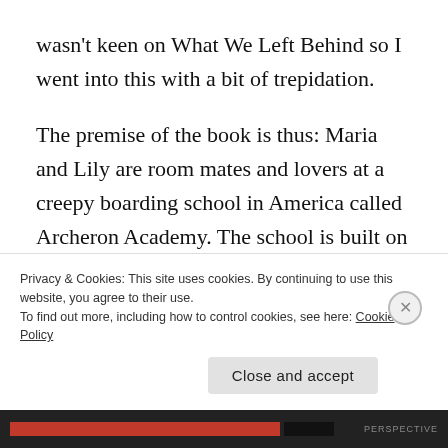wasn't keen on What We Left Behind so I went into this with a bit of trepidation.
The premise of the book is thus: Maria and Lily are room mates and lovers at a creepy boarding school in America called Archeron Academy. The school is built on an old slave plantation and there are more than a few ghost stories attached. There is a big lake in the middle of the campus where, allegedly, three
Privacy & Cookies: This site uses cookies. By continuing to use this website, you agree to their use.
To find out more, including how to control cookies, see here: Cookie Policy
Close and accept